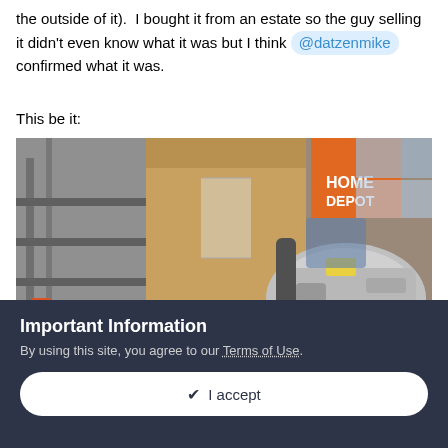the outside of it). I bought it from an estate so the guy selling it didn't even know what it was but I think @datzenmike confirmed what it was.
This be it:
[Figure (photo): A photo of a metal mechanical part (appears to be a transmission or gearbox) stored in a cluttered space with cardboard boxes, including a Home Depot box, and shelving units.]
Important Information
By using this site, you agree to our Terms of Use.
I accept